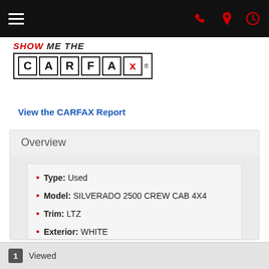Navigation bar with hamburger menu and icons
[Figure (logo): SHOW ME THE CARFAX logo with letter boxes]
View the CARFAX Report
Overview
Type: Used
Model: SILVERADO 2500 CREW CAB 4X4
Trim: LTZ
Exterior: WHITE
Interior: BLACK
Doors: 4
Stock#: 510333
1 Viewed